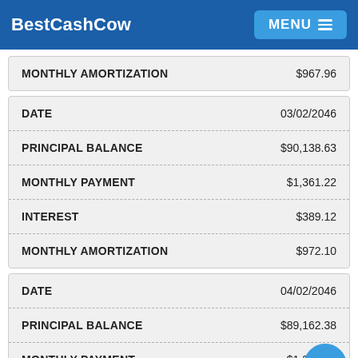BestCashCow  MENU
|  |  |
| --- | --- |
| MONTHLY AMORTIZATION | $967.96 |
|  |  |
| --- | --- |
| DATE | 03/02/2046 |
| PRINCIPAL BALANCE | $90,138.63 |
| MONTHLY PAYMENT | $1,361.22 |
| INTEREST | $389.12 |
| MONTHLY AMORTIZATION | $972.10 |
|  |  |
| --- | --- |
| DATE | 04/02/2046 |
| PRINCIPAL BALANCE | $89,162.38 |
| MONTHLY PAYMENT | $1,361.22 |
| INTEREST | $384.07 |